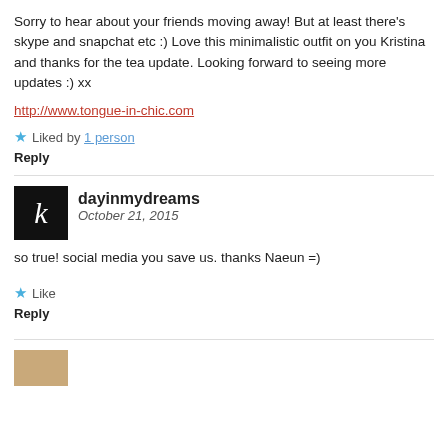Sorry to hear about your friends moving away! But at least there’s skype and snapchat etc :) Love this minimalistic outfit on you Kristina and thanks for the tea update. Looking forward to seeing more updates :) xx
http://www.tongue-in-chic.com
Liked by 1 person
Reply
dayinmydreams
October 21, 2015
so true! social media you save us. thanks Naeun =)
Like
Reply